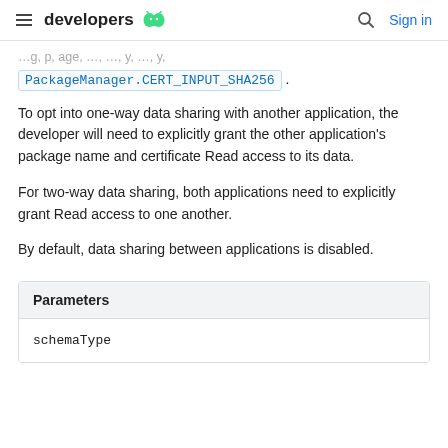developers  [android logo]  [search icon]  Sign in
PackageManager.CERT_INPUT_SHA256 .
To opt into one-way data sharing with another application, the developer will need to explicitly grant the other application's package name and certificate Read access to its data.
For two-way data sharing, both applications need to explicitly grant Read access to one another.
By default, data sharing between applications is disabled.
| Parameters |
| --- |
| schemaType |